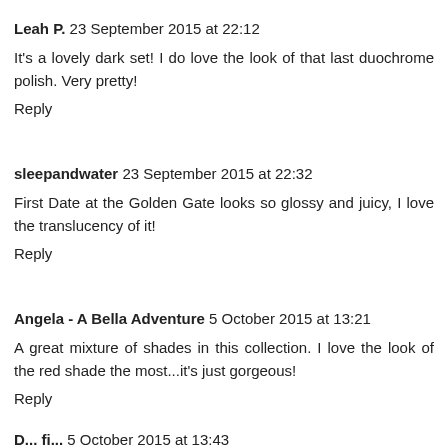Leah P.  23 September 2015 at 22:12
It's a lovely dark set! I do love the look of that last duochrome polish. Very pretty!
Reply
sleepandwater  23 September 2015 at 22:32
First Date at the Golden Gate looks so glossy and juicy, I love the translucency of it!
Reply
Angela - A Bella Adventure  5 October 2015 at 13:21
A great mixture of shades in this collection. I love the look of the red shade the most...it's just gorgeous!
Reply
D... fi...  5 October 2015 at 13:43